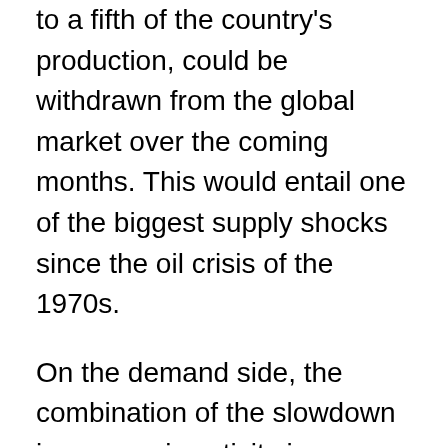to a fifth of the country's production, could be withdrawn from the global market over the coming months. This would entail one of the biggest supply shocks since the oil crisis of the 1970s.
On the demand side, the combination of the slowdown in economic activity in a context of uncertainty, the efforts to reduce the consumption of Russian crude oil and to substitute it not only with oil from other parts of the world but also with other energy sources, and the impact of Omicron on China has prompted a downward revision of estimates of global oil demand for 2022 (in March, the IEA cut its forecast by 1.9 million